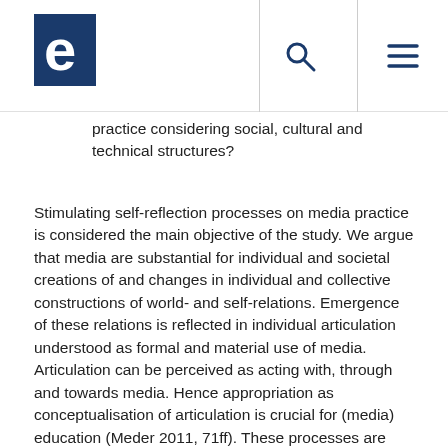e [logo] [search icon] [menu icon]
practice considering social, cultural and technical structures?
Stimulating self-reflection processes on media practice is considered the main objective of the study. We argue that media are substantial for individual and societal creations of and changes in individual and collective constructions of world- and self-relations. Emergence of these relations is reflected in individual articulation understood as formal and material use of media. Articulation can be perceived as acting with, through and towards media. Hence appropriation as conceptualisation of articulation is crucial for (media) education (Meder 2011, 71ff). These processes are documented in the media diary notes which therefore may be considered as a documentation of self-reflection in terms of (Media-)Bildung (Meder 2015). This concept is based on an